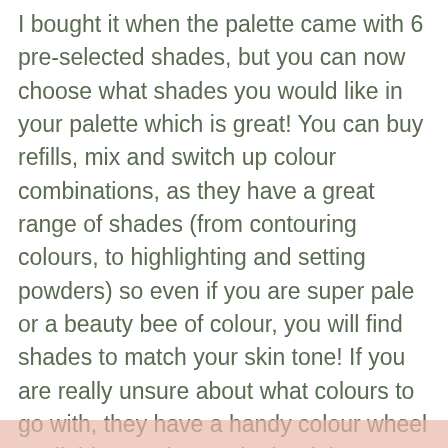I bought it when the palette came with 6 pre-selected shades, but you can now choose what shades you would like in your palette which is great! You can buy refills, mix and switch up colour combinations, as they have a great range of shades (from contouring colours, to highlighting and setting powders) so even if you are super pale or a beauty bee of colour, you will find shades to match your skin tone! If you are really unsure about what colours to go with, they have a handy colour wheel available to point you in the right direction and colour combinations that go well with each other (you can find those on their website).